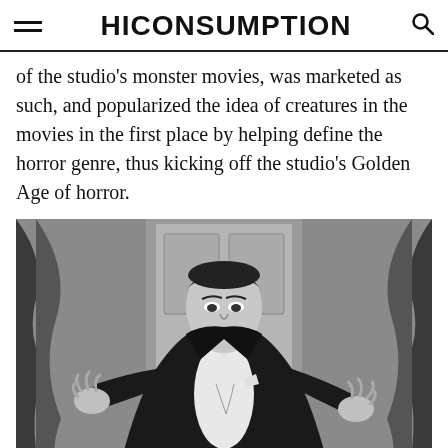HICONSUMPTION
of the studio’s monster movies, was marketed as such, and popularized the idea of creatures in the movies in the first place by helping define the horror genre, thus kicking off the studio’s Golden Age of horror.
[Figure (photo): Black and white photograph of Bela Lugosi as Dracula, wearing a tuxedo with cape, arms extended with claw-like hands, standing in a doorway with curtains in the background.]